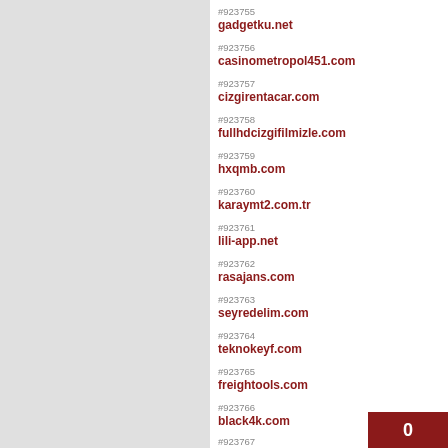#923755 gadgetku.net
#923756 casinometropol451.com
#923757 cizgirentacar.com
#923758 fullhdcizgifilmizle.com
#923759 hxqmb.com
#923760 karaymt2.com.tr
#923761 lili-app.net
#923762 rasajans.com
#923763 seyredelim.com
#923764 teknokeyf.com
#923765 freightools.com
#923766 black4k.com
#923767 electrocraft.com